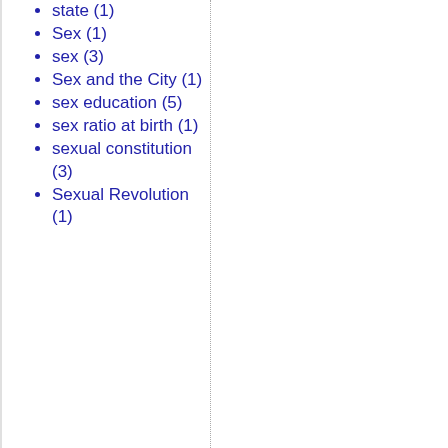state (1)
Sex (1)
sex (3)
Sex and the City (1)
sex education (5)
sex ratio at birth (1)
sexual constitution (3)
Sexual Revolution (1)